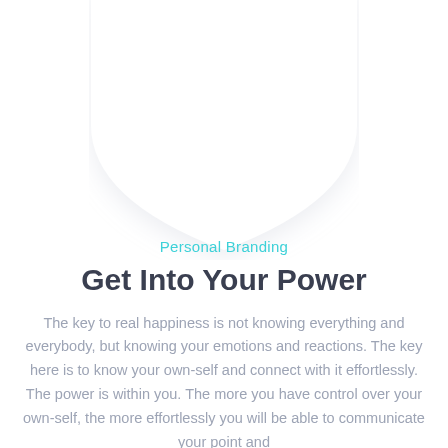[Figure (illustration): A large shield/badge shape with white fill and light gray shadow, centered at the top of the page, representing a personal branding emblem.]
Personal Branding
Get Into Your Power
The key to real happiness is not knowing everything and everybody, but knowing your emotions and reactions. The key here is to know your own-self and connect with it effortlessly. The power is within you. The more you have control over your own-self, the more effortlessly you will be able to communicate your point and